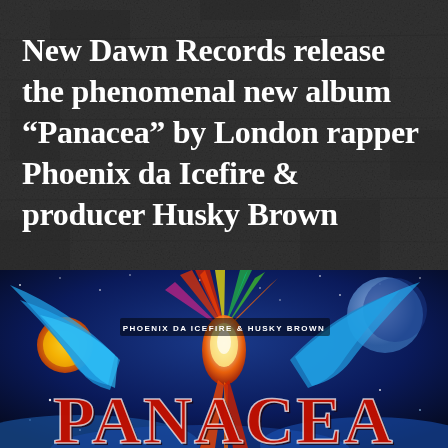New Dawn Records release the phenomenal new album “Panacea” by London rapper Phoenix da Icefire & producer Husky Brown
[Figure (illustration): Album cover art for Panacea by Phoenix da Icefire & Husky Brown. Colorful psychedelic artwork featuring a phoenix-like bird with radiant feathers in blues, reds, and greens against a cosmic background with stars and planets. Text reads PHOENIX DA ICEFIRE & HUSKY BROWN at the top and PANACEA in large stylized letters at the bottom.]